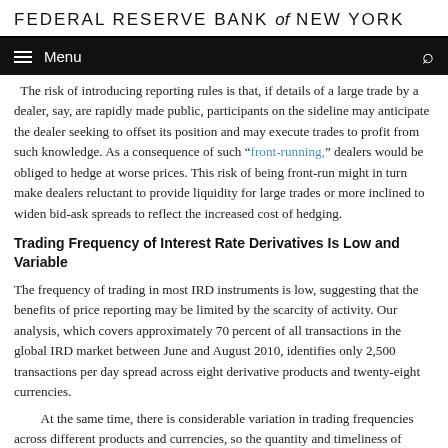FEDERAL RESERVE BANK of NEW YORK
The risk of introducing reporting rules is that, if details of a large trade by a dealer, say, are rapidly made public, participants on the sideline may anticipate the dealer seeking to offset its position and may execute trades to profit from such knowledge. As a consequence of such “front-running,” dealers would be obliged to hedge at worse prices. This risk of being front-run might in turn make dealers reluctant to provide liquidity for large trades or more inclined to widen bid-ask spreads to reflect the increased cost of hedging.
Trading Frequency of Interest Rate Derivatives Is Low and Variable
The frequency of trading in most IRD instruments is low, suggesting that the benefits of price reporting may be limited by the scarcity of activity. Our analysis, which covers approximately 70 percent of all transactions in the global IRD market between June and August 2010, identifies only 2,500 transactions per day spread across eight derivative products and twenty-eight currencies.
At the same time, there is considerable variation in trading frequencies across different products and currencies, so the quantity and timeliness of